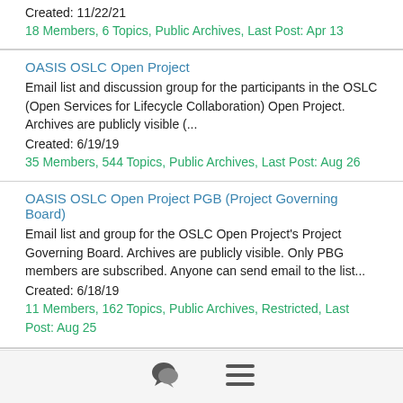Created: 11/22/21
18 Members, 6 Topics, Public Archives, Last Post: Apr 13
OASIS OSLC Open Project
Email list and discussion group for the participants in the OSLC (Open Services for Lifecycle Collaboration) Open Project. Archives are publicly visible (...
Created: 6/19/19
35 Members, 544 Topics, Public Archives, Last Post: Aug 26
OASIS OSLC Open Project PGB (Project Governing Board)
Email list and group for the OSLC Open Project's Project Governing Board. Archives are publicly visible. Only PBG members are subscribed. Anyone can send email to the list...
Created: 6/18/19
11 Members, 162 Topics, Public Archives, Restricted, Last Post: Aug 25
[Figure (other): Bottom navigation bar with chat bubble icon and hamburger menu icon]